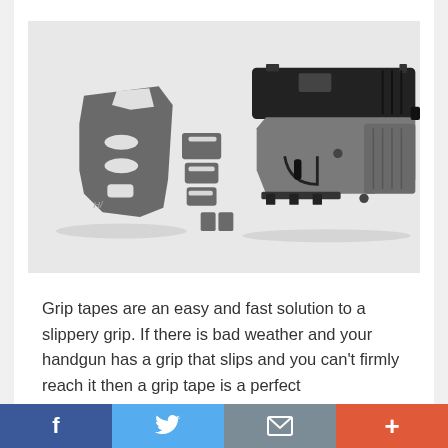[Figure (photo): A pistol handgun shown on a white surface alongside grey grip tape pieces laid out flat — showing the kit of cut grip tape pieces before application and the gun with grip tape already applied on the right side.]
Grip tapes are an easy and fast solution to a slippery grip. If there is bad weather and your handgun has a grip that slips and you can't firmly reach it then a grip tape is a perfect solution...
f  Twitter-bird  mail  +